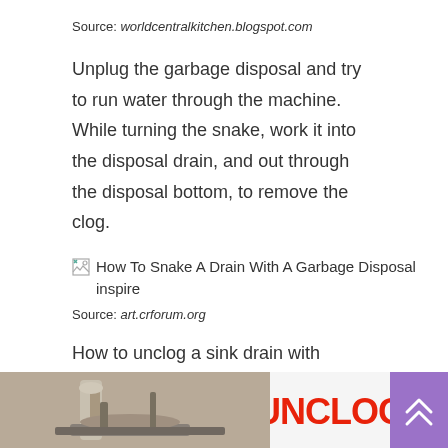Source: worldcentralkitchen.blogspot.com
Unplug the garbage disposal and try to run water through the machine. While turning the snake, work it into the disposal drain, and out through the disposal bottom, to remove the clog.
[Figure (photo): Broken image placeholder with alt text: How To Snake A Drain With A Garbage Disposal inspire]
Source: art.crforum.org
How to unclog a sink drain with plunger snake family. Fill the garbage disposal with the ice cubes and run the water.
[Figure (photo): Bottom left: photo of sink drain plumbing hardware. Bottom center: red bold text reading UNCLOG. Bottom right: purple button with upward chevron arrows.]